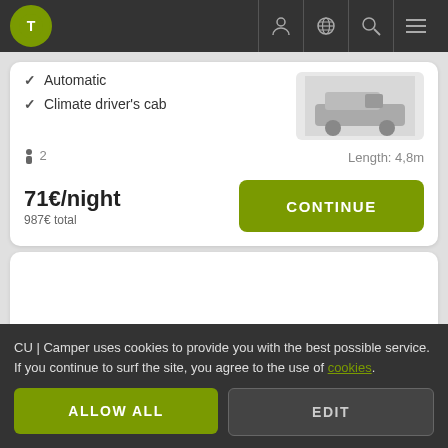[Figure (screenshot): Top navigation bar with logo, person icon, globe icon, search icon, and menu icon]
✓ Automatic
✓ Climate driver's cab
2   Length: 4,8m
71€/night
987€ total
CONTINUE
CU | Camper uses cookies to provide you with the best possible service. If you continue to surf the site, you agree to the use of cookies.
ALLOW ALL
EDIT